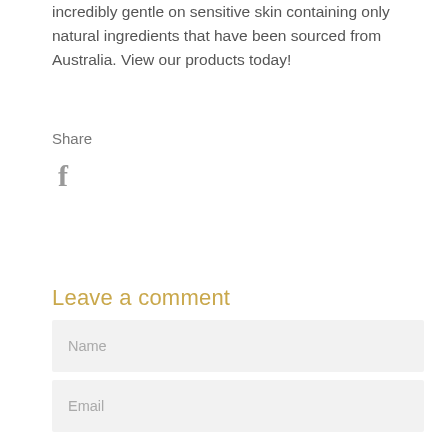incredibly gentle on sensitive skin containing only natural ingredients that have been sourced from Australia. View our products today!
Share
[Figure (logo): Facebook 'f' icon in grey]
Leave a comment
Name
Email